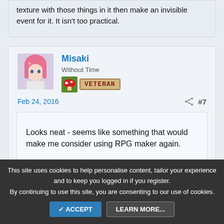texture with those things in it then make an invisible event for it. It isn't too practical.
Misaki
Without Time
[Figure (illustration): Pixel art badge with mushroom icon and VETERAN text in red on tan background]
Feb 24, 2016
#7
Looks neat - seems like something that would make me consider using RPG maker again.
RachelTheSeeker
This site uses cookies to help personalise content, tailor your experience and to keep you logged in if you register.
By continuing to use this site, you are consenting to our use of cookies.